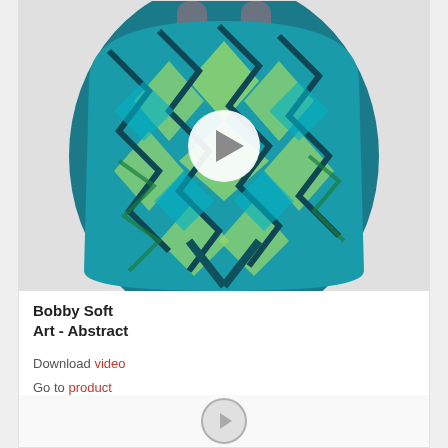[Figure (photo): Bobby Soft Art - Abstract backpack with teal, green, and dark blue geometric abstract pattern. A white circular play button overlay is centered on the image.]
Bobby Soft
Art - Abstract
Download video
Go to product
[Figure (other): Bottom card partially visible with a circular icon]